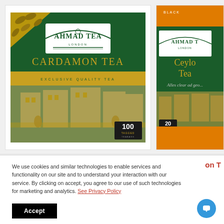[Figure (photo): Ahmad Tea London - Cardamon Tea box, 100 tagged teabags, dark green packaging with gold text and illustration of a palace/building]
[Figure (photo): Ahmad Tea London - Ceylon Tea box, partially visible, dark green and orange packaging]
We use cookies and similar technologies to enable services and functionality on our site and to understand your interaction with our service. By clicking on accept, you agree to our use of such technologies for marketing and analytics. See Privacy Policy
Accept